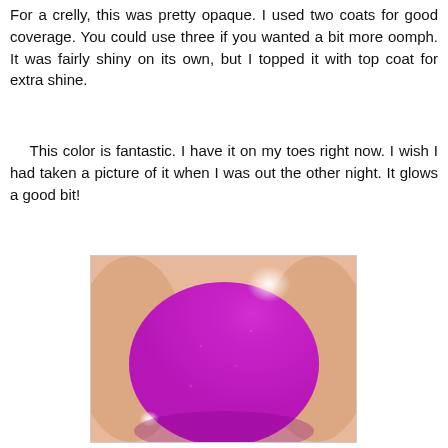For a crelly, this was pretty opaque. I used two coats for good coverage. You could use three if you wanted a bit more oomph. It was fairly shiny on its own, but I topped it with top coat for extra shine.
This color is fantastic. I have it on my toes right now. I wish I had taken a picture of it when I was out the other night. It glows a good bit!
[Figure (photo): Close-up macro photo of a fingernail or toenail painted in a vibrant magenta/purple nail polish color, with skin visible around the nail edges and a bright white highlight reflection at the top of the nail.]